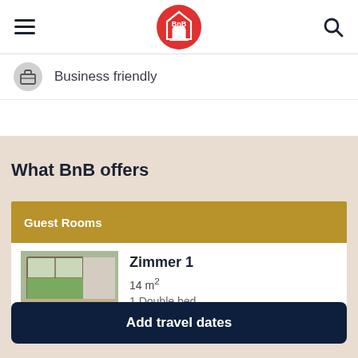[Figure (logo): BnB logo — red circle with white house icon and BnB text]
Business friendly
What BnB offers
Guest Rooms
Zimmer 1
14 m²
1 Double bed
[Figure (photo): Photo of a guest room with large windows and garden view]
Add travel dates